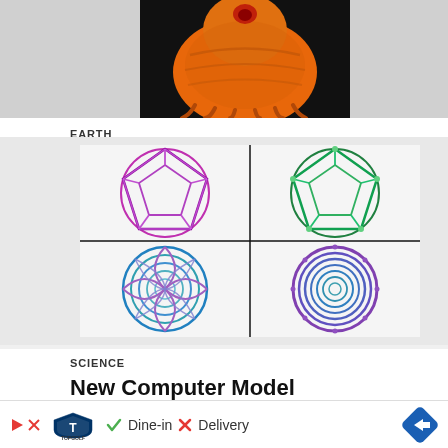[Figure (photo): Close-up macro photo of an orange tardigrade (water bear) against a black background, showing its segmented body and legs from the front/top view.]
EARTH
Tardigrades Will Be The Last Survivors On Earth
[Figure (illustration): Four-panel scientific illustration showing 3D DNA origami structures: top-left shows a purple/magenta geodesic sphere wireframe, top-right shows a green/teal geodesic sphere wireframe, bottom-left shows a blue/teal spiral rose-like circular structure, bottom-right shows a purple/teal spiral circular structure. The four panels are arranged in a 2x2 grid separated by black lines.]
SCIENCE
New Computer Model Designs Complicated 3D Structures from DNA
[Figure (other): Advertisement banner for Topgolf showing logo with play button, checkmark with 'Dine-in', X with 'Delivery', and a blue diamond-shaped arrow icon on the right.]